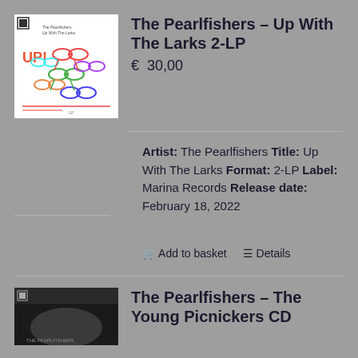[Figure (photo): Album cover for The Pearlfishers – Up With The Larks, showing colorful bird illustrations on white background]
The Pearlfishers – Up With The Larks 2-LP
€  30,00
Artist: The Pearlfishers Title: Up With The Larks Format: 2-LP Label: Marina Records Release date: February 18, 2022
Add to basket   Details
[Figure (photo): Album cover for The Pearlfishers – The Young Picnickers CD, dark themed cover]
The Pearlfishers – The Young Picnickers CD